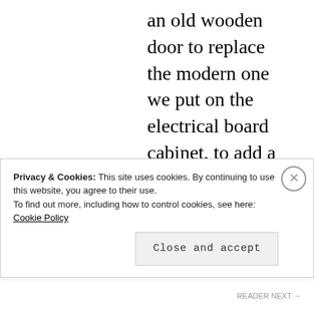an old wooden door to replace the modern one we put on the electrical board cabinet, to add a bit more texture to the space. Originally I had wanted to make the whole thing disappear with an all-over wall treatment (that would wrap the cabinet too), in my dreams with the Nuvole paper from Cole & Sons, but I'm reconsidering that. I'd also like to find some runners for the length of the hallway to soften the
Privacy & Cookies: This site uses cookies. By continuing to use this website, you agree to their use. To find out more, including how to control cookies, see here: Cookie Policy
Close and accept